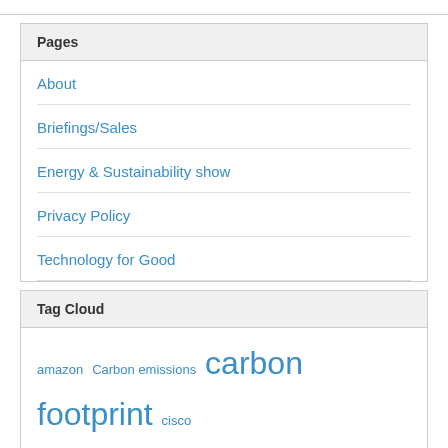Pages
About
Briefings/Sales
Energy & Sustainability show
Privacy Policy
Technology for Good
Tag Cloud
amazon Carbon emissions carbon footprint cisco climate climate change cloud cloud computing co2 co2 emissions coal CSR data center dell demand response electricity